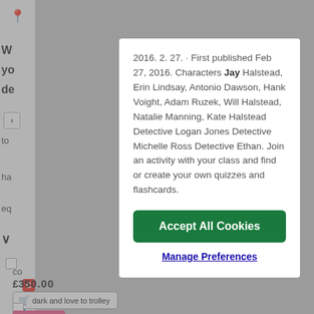[Figure (screenshot): Website page partially visible behind a cookie consent modal dialog. The modal contains text about a publication dated Feb 27, 2016 with character names, and two buttons: 'Accept All Cookies' (green) and 'Manage Preferences' (blue link).]
2016. 2. 27. · First published Feb 27, 2016. Characters Jay Halstead, Erin Lindsay, Antonio Dawson, Hank Voight, Adam Ruzek, Will Halstead, Natalie Manning, Kate Halstead Detective Logan Jones Detective Michelle Ross Detective Ethan. Join an activity with your class and find or create your own quizzes and flashcards.
Accept All Cookies
Manage Preferences